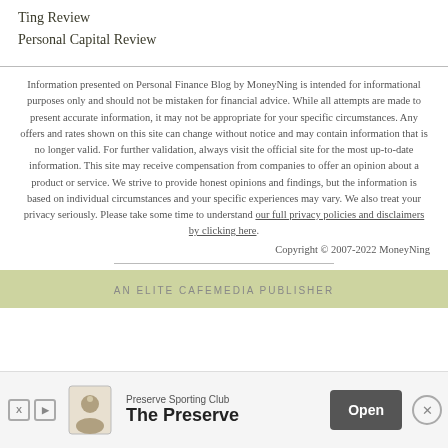Ting Review
Personal Capital Review
Information presented on Personal Finance Blog by MoneyNing is intended for informational purposes only and should not be mistaken for financial advice. While all attempts are made to present accurate information, it may not be appropriate for your specific circumstances. Any offers and rates shown on this site can change without notice and may contain information that is no longer valid. For further validation, always visit the official site for the most up-to-date information. This site may receive compensation from companies to offer an opinion about a product or service. We strive to provide honest opinions and findings, but the information is based on individual circumstances and your specific experiences may vary. We also treat your privacy seriously. Please take some time to understand our full privacy policies and disclaimers by clicking here.
Copyright © 2007-2022 MoneyNing
AN ELITE CAFEMEDIA PUBLISHER
[Figure (other): Advertisement banner for Preserve Sporting Club - The Preserve with Open button and close X button]